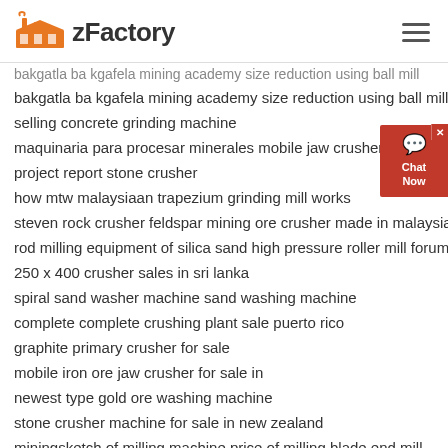zFactory
bakgatla ba kgafela mining academy size reduction using ball mill
selling concrete grinding machine
maquinaria para procesar minerales mobile jaw crusher pakistan
project report stone crusher
how mtw malaysiaan trapezium grinding mill works
steven rock crusher feldspar mining ore crusher made in malaysia
rod milling equipment of silica sand high pressure roller mill forum
250 x 400 crusher sales in sri lanka
spiral sand washer machine sand washing machine
complete complete crushing plant sale puerto rico
graphite primary crusher for sale
mobile iron ore jaw crusher for sale in
newest type gold ore washing machine
stone crusher machine for sale in new zealand
miningsketch of milling machine price of milling blade end mill
used stone crusher malaysia mesh machine for grinding barite
efficient small magnetite stone crushing machine price in durres
price of 100 tph crushers photos